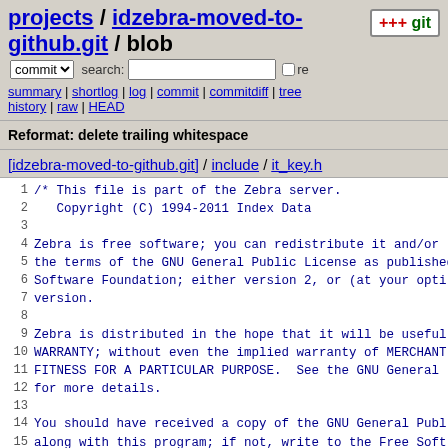projects / idzebra-moved-to-github.git / blob
commit  search:  re
summary | shortlog | log | commit | commitdiff | tree history | raw | HEAD
Reformat: delete trailing whitespace
[idzebra-moved-to-github.git] / include / it_key.h
1  /* This file is part of the Zebra server.
2     Copyright (C) 1994-2011 Index Data
3
4  Zebra is free software; you can redistribute it and/or
5  the terms of the GNU General Public License as published
6  Software Foundation; either version 2, or (at your opti
7  version.
8
9  Zebra is distributed in the hope that it will be useful
10 WARRANTY; without even the implied warranty of MERCHANT
11 FITNESS FOR A PARTICULAR PURPOSE.  See the GNU General
12 for more details.
13
14 You should have received a copy of the GNU General Publ
15 along with this program; if not, write to the Free Soft
16 Foundation, Inc., 51 Franklin St, Fifth Floor, Boston,
17
18 */
19